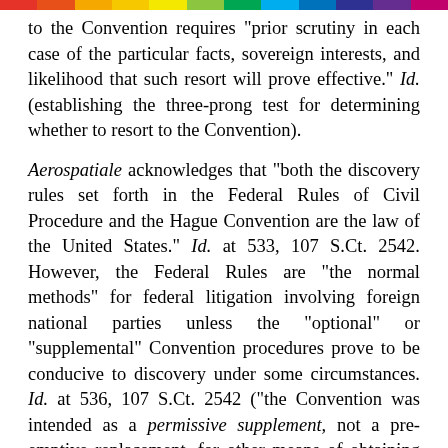to the Convention requires "prior scrutiny in each case of the particular facts, sovereign interests, and likelihood that such resort will prove effective." Id. (establishing the three-prong test for determining whether to resort to the Convention).
Aerospatiale acknowledges that "both the discovery rules set forth in the Federal Rules of Civil Procedure and the Hague Convention are the law of the United States." Id. at 533, 107 S.Ct. 2542. However, the Federal Rules are "the normal methods" for federal litigation involving foreign national parties unless the "optional" or "supplemental" Convention procedures prove to be conducive to discovery under some circumstances. Id. at 536, 107 S.Ct. 2542 ("the Convention was intended as a permissive supplement, not a pre-emptive replacement, for other means of obtaining evidence located abroad") (emphasis added), 538, 107 S.Ct. 2542